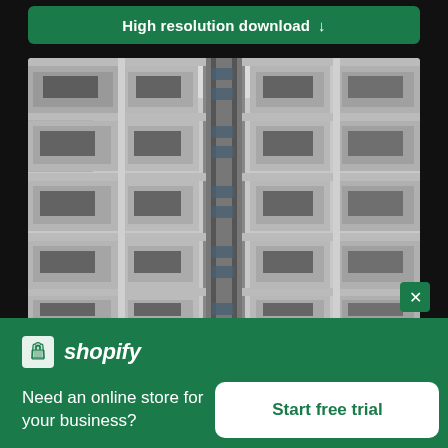High resolution download ↓
[Figure (photo): Upward-looking photograph of a modern apartment building facade with geometric balconies and windows in a grid pattern, monochrome/grey tones]
[Figure (logo): Shopify logo: shopping bag icon with 'shopify' wordmark in white on green background]
Need an online store for your business?
Start free trial